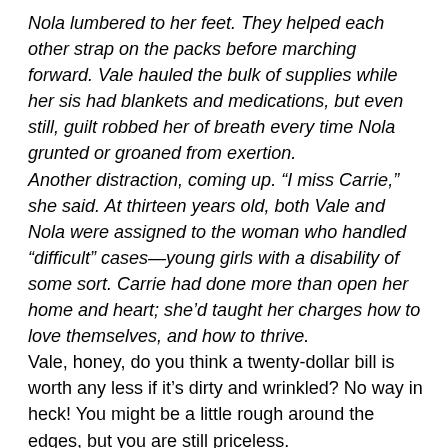Nola lumbered to her feet. They helped each other strap on the packs before marching forward. Vale hauled the bulk of supplies while her sis had blankets and medications, but even still, guilt robbed her of breath every time Nola grunted or groaned from exertion. Another distraction, coming up. “I miss Carrie,” she said. At thirteen years old, both Vale and Nola were assigned to the woman who handled “difficult” cases—young girls with a disability of some sort. Carrie had done more than open her home and heart; she’d taught her charges how to love themselves, and how to thrive. Vale, honey, do you think a twenty-dollar bill is worth any less if it’s dirty and wrinkled? No way in heck! You might be a little rough around the edges, but you are still priceless. Carrie and her words of wisdom. She’d loved the adage